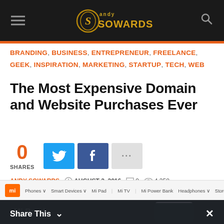Andy Sowards — hamburger menu, logo, search icon
BRANDING, BUSINESS, ENTREPRENEUR, FREELANCE, GEEK, INSPIRATION, MARKETING, STARTUP, TECH, WEB
The Most Expensive Domain and Website Purchases Ever
0 SHARES
ANDY SOWARDS   AUGUST 2, 2016   0   4,358
[Figure (screenshot): Mi Band navigation bar advertisement strip with Xiaomi Mi logo and menu items: Phones, Smart Devices, Mi Pad, Mi TV, Mi Power Bank, Headphones, Store]
[Figure (photo): Dark promotional band for Xiaomi Mi Band fitness tracker]
Share This